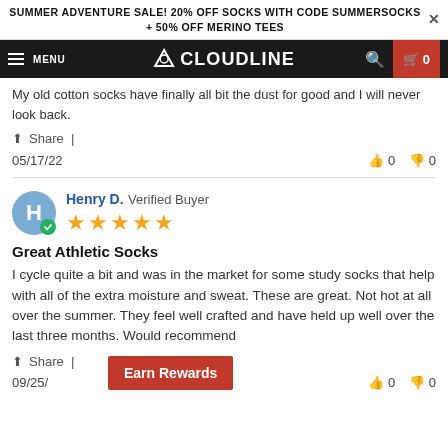SUMMER ADVENTURE SALE! 20% OFF SOCKS WITH CODE SUMMERSOCKS + 50% OFF MERINO TEES
MENU CLOUDLINE 0
My old cotton socks have finally all bit the dust for good and I will never look back.
Share |
05/17/22   👍 0  👎 0
Henry D. Verified Buyer
★★★★★
Great Athletic Socks
I cycle quite a bit and was in the market for some study socks that help with all of the extra moisture and sweat. These are great. Not hot at all over the summer. They feel well crafted and have held up well over the last three months. Would recommend
Share |
09/25/  👍 0  👎 0
Earn Rewards